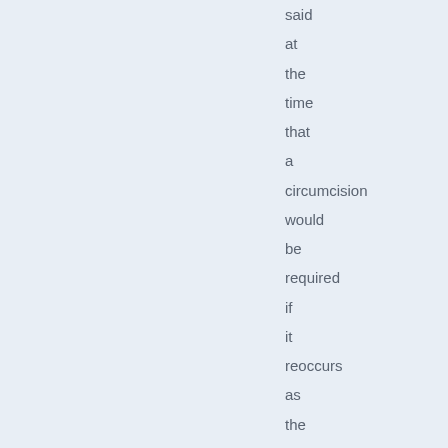said at the time that a circumcision would be required if it reoccurs as the circumcision will stop it.

But then it